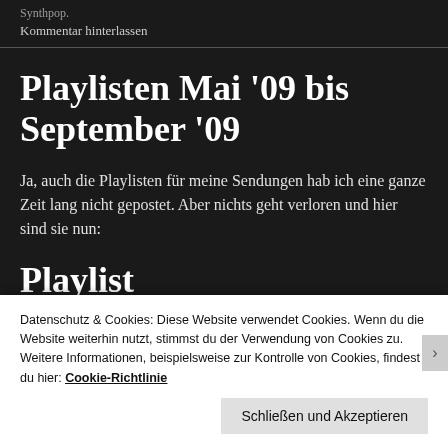Synthpop.
Kommentar hinterlassen
Playlisten Mai '09 bis September '09
Ja, auch die Playlisten für meine Sendungen hab ich eine ganze Zeit lang nicht gepostet. Aber nichts geht verloren und hier sind sie nun:
Playlist OhmSweetOhm/…
Datenschutz & Cookies: Diese Website verwendet Cookies. Wenn du die Website weiterhin nutzt, stimmst du der Verwendung von Cookies zu.
Weitere Informationen, beispielsweise zur Kontrolle von Cookies, findest du hier: Cookie-Richtlinie
Schließen und Akzeptieren